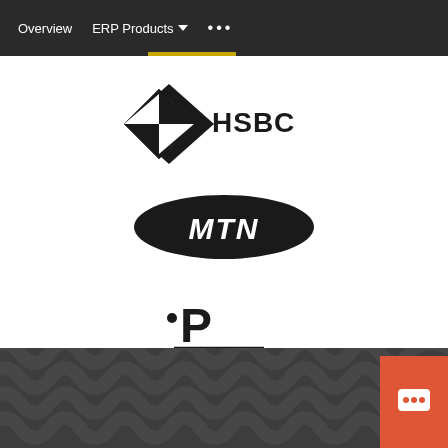Overview  ERP Products ▾  •••
[Figure (logo): HSBC logo — two black diamond/hexagon shapes forming an X symbol, followed by 'HSBC' in bold black serif text]
[Figure (logo): MTN logo — black oval/ellipse with 'MTN' text in white italic bold letters inside]
[Figure (logo): Precision logo — stylized P with a bullet/dot and horizontal lines beneath, with 'Precision' text below in black]